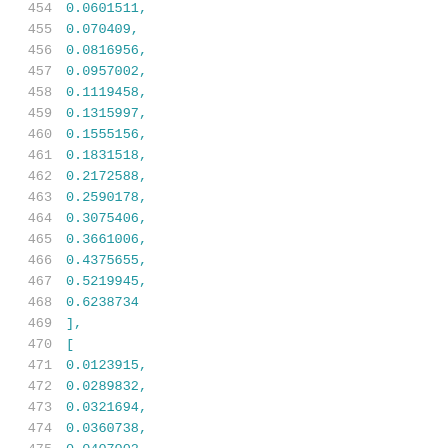454    0.0601511,
455    0.070409,
456    0.0816956,
457    0.0957002,
458    0.1119458,
459    0.1315997,
460    0.1555156,
461    0.1831518,
462    0.2172588,
463    0.2590178,
464    0.3075406,
465    0.3661006,
466    0.4375655,
467    0.5219945,
468    0.6238734
469    ],
470    [
471    0.0123915,
472    0.0289832,
473    0.0321694,
474    0.0360738,
475    0.0407002,